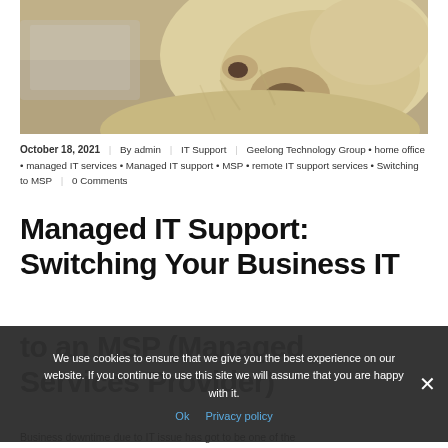[Figure (photo): Close-up photo of a yellow Labrador dog resting its head, shot from above, warm tones]
October 18, 2021 | By admin | IT Support | Geelong Technology Group • home office • managed IT services • Managed IT support • MSP • remote IT support services • Switching to MSP | 0 Comments
Managed IT Support: Switching Your Business IT to an MSP (Managed Services Provider)
We use cookies to ensure that we give you the best experience on our website. If you continue to use this site we will assume that you are happy with it.
Ok  Privacy policy
Business downtime due to IT issue has got to be one of the